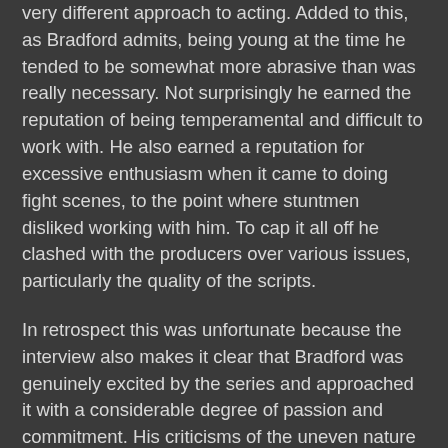very different approach to acting. Added to this, as Bradford admits, being young at the time he tended to be somewhat more abrasive than was really necessary. Not surprisingly he earned the reputation of being temperamental and difficult to work with. He also earned a reputation for excessive enthusiasm when it came to doing fight scenes, to the point where stuntmen disliked working with him. To cap it all off he clashed with the producers over various issues, particularly the quality of the scripts.
In retrospect this was unfortunate because the interview also makes it clear that Bradford was genuinely excited by the series and approached it with a considerable degree of passion and commitment. His criticisms of the uneven nature of the scripts were interestingly enough echoed a few years later by another American actor working on an ITC series, Tony Curtis (in The Persuaders!) and it has to be admitted that both Bradford and Curtis had a point. ITC did have a tendency to let scripts go by that really should have had more work done on them and they also had a habit of recycling scripts (which particularly irritated Bradford).